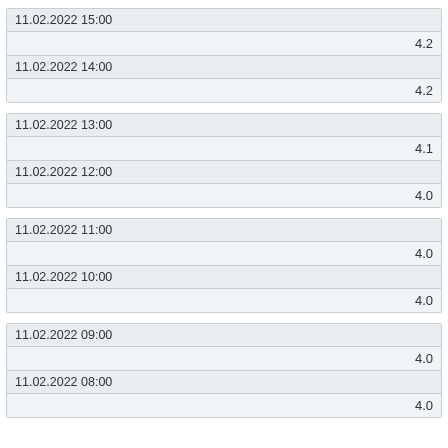| 11.02.2022 15:00 |  |
|  | 4.2 |
| 11.02.2022 14:00 |  |
|  | 4.2 |
| 11.02.2022 13:00 |  |
|  | 4.1 |
| 11.02.2022 12:00 |  |
|  | 4.0 |
| 11.02.2022 11:00 |  |
|  | 4.0 |
| 11.02.2022 10:00 |  |
|  | 4.0 |
| 11.02.2022 09:00 |  |
|  | 4.0 |
| 11.02.2022 08:00 |  |
|  | 4.0 |